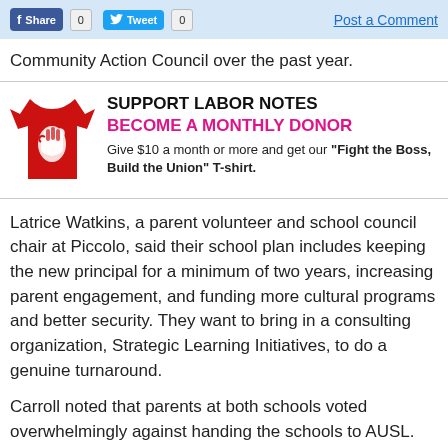Facebook Share 0  Tweet 0  Post a Comment
Community Action Council over the past year.
[Figure (illustration): Red t-shirt with white fist graphic (Labor Notes merchandise)]
SUPPORT LABOR NOTES
BECOME A MONTHLY DONOR
Give $10 a month or more and get our "Fight the Boss, Build the Union" T-shirt.
Latrice Watkins, a parent volunteer and school council chair at Piccolo, said their school plan includes keeping the new principal for a minimum of two years, increasing parent engagement, and funding more cultural programs and better security. They want to bring in a consulting organization, Strategic Learning Initiatives, to do a genuine turnaround.
Carroll noted that parents at both schools voted overwhelmingly against handing the schools to AUSL. The schools chief and board members each received the